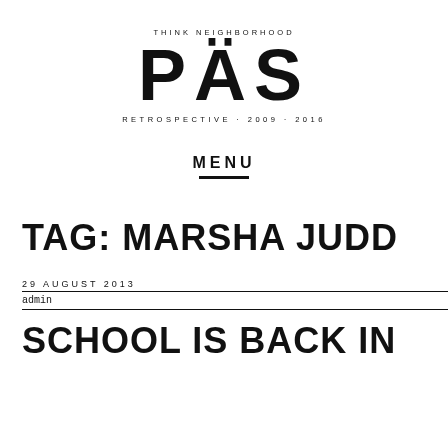THINK NEIGHBORHOOD
PÄS
RETROSPECTIVE · 2009 · 2016
MENU
TAG: MARSHA JUDD
29 AUGUST 2013
admin
SCHOOL IS BACK IN